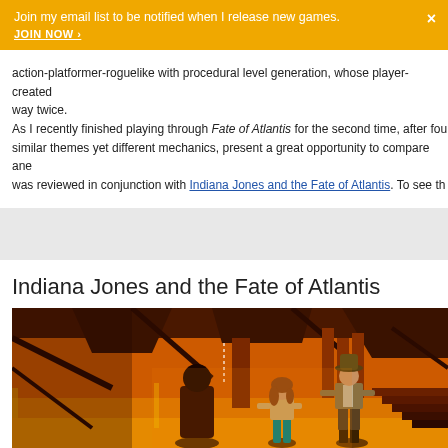Join my email list to be notified when I release new games. JOIN NOW >
action-platformer-roguelike with procedural level generation, whose player-created way twice.
As I recently finished playing through Fate of Atlantis for the second time, after fou similar themes yet different mechanics, present a great opportunity to compare ane was reviewed in conjunction with Indiana Jones and the Fate of Atlantis. To see th
[Figure (other): Advertisement block, light gray background]
Indiana Jones and the Fate of Atlantis
[Figure (screenshot): Screenshot from Indiana Jones and the Fate of Atlantis video game showing two characters (a woman in teal pants and a man in khaki jacket and hat) standing in an ancient stone chamber with orange/red lava lighting and large stone pillars in the background]